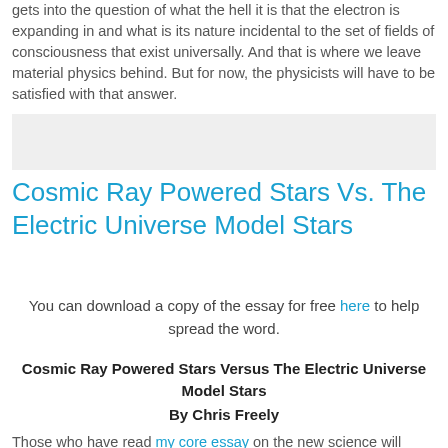gets into the question of what the hell it is that the electron is expanding in and what is its nature incidental to the set of fields of consciousness that exist universally.  And that is where we leave material physics behind.  But for now, the physicists will have to be satisfied with that answer.
[Figure (other): Gray rectangle placeholder/advertisement block]
Cosmic Ray Powered Stars Vs. The Electric Universe Model Stars
You can download a copy of the essay for free here to help spread the word.
Cosmic Ray Powered Stars Versus The Electric Universe Model Stars
By Chris Freely
Those who have read my core essay on the new science will